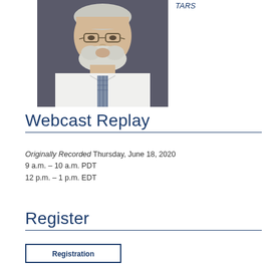[Figure (photo): Portrait photo of an older man with white beard and glasses, wearing a white shirt and plaid tie, against a dark background]
TARS
Webcast Replay
Originally Recorded  Thursday, June 18, 2020
9 a.m. – 10 a.m. PDT
12 p.m. – 1 p.m. EDT
Register
Registration